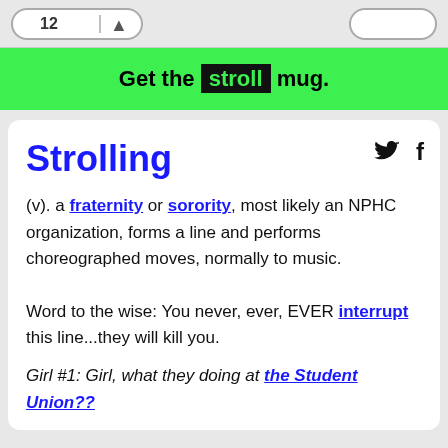[Figure (other): Top navigation bar with rounded button shapes showing '12' and an arrow, and another rounded button on the right]
Get the stroll mug.
Strolling
(v). a fraternity or sorority, most likely an NPHC organization, forms a line and performs choreographed moves, normally to music.

Word to the wise: You never, ever, EVER interrupt this line...they will kill you.
Girl #1: Girl, what they doing at the Student Union??